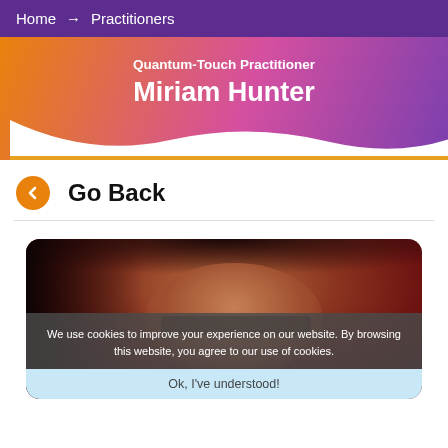Home → Practitioners
Quantum-Touch Practitioner
Miriam Hunter
← Go Back
[Figure (photo): Portrait photo of Miriam Hunter, a woman with dark reddish-brown hair, photographed against a dark red background. A cookie consent banner overlays the lower portion reading: 'We use cookies to improve your experience on our website. By browsing this website, you agree to our use of cookies.' with an 'Ok, I've understood!' button.]